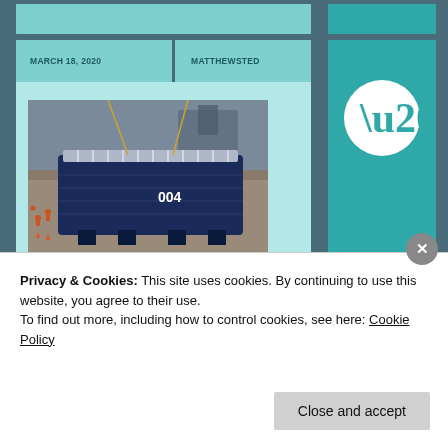MARCH 18, 2020
MATTHEWSTED
[Figure (photo): Large blue industrial module labeled '004' being lowered into a dry dock area with workers visible nearby. The module appears to be a submarine or underwater vessel section being installed.]
"The Interceptor 004, a
Privacy & Cookies: This site uses cookies. By continuing to use this website, you agree to their use.
To find out more, including how to control cookies, see here: Cookie Policy
Close and accept